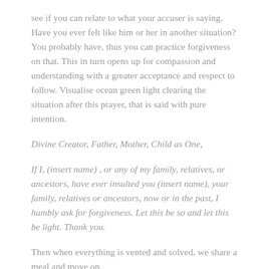see if you can relate to what your accuser is saying. Have you ever felt like him or her in another situation? You probably have, thus you can practice forgiveness on that. This in turn opens up for compassion and understanding with a greater acceptance and respect to follow. Visualise ocean green light clearing the situation after this prayer, that is said with pure intention.
Divine Creator, Father, Mother, Child as One,
If I, (insert name) , or any of my family, relatives, or ancestors, have ever insulted you (insert name), your family, relatives or ancestors, now or in the past, I humbly ask for forgiveness. Let this be so and let this be light. Thank you.
Then when everything is vented and solved, we share a meal and move on.